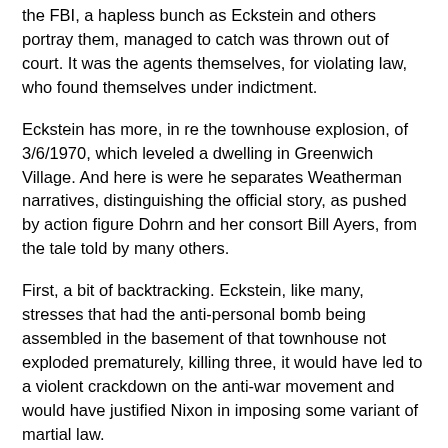the FBI, a hapless bunch as Eckstein and others portray them, managed to catch was thrown out of court. It was the agents themselves, for violating law, who found themselves under indictment.
Eckstein has more, in re the townhouse explosion, of 3/6/1970, which leveled a dwelling in Greenwich Village. And here is were he separates Weatherman narratives, distinguishing the official story, as pushed by action figure Dohrn and her consort Bill Ayers, from the tale told by many others.
First, a bit of backtracking. Eckstein, like many, stresses that had the anti-personal bomb being assembled in the basement of that townhouse not exploded prematurely, killing three, it would have led to a violent crackdown on the anti-war movement and would have justified Nixon in imposing some variant of martial law.
The bomb was aimed at an officers ball at Fort Dix, where it would have murdered civilians, not just officers but mothers and children. Eckstein adds this not insignificant detail,